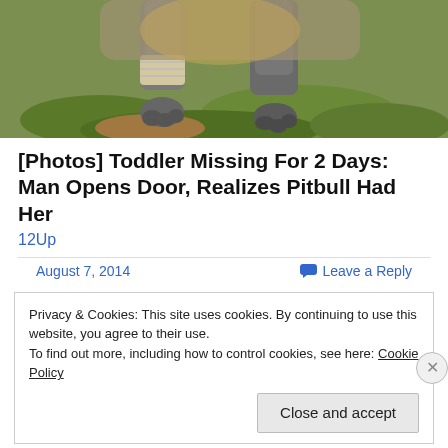[Figure (photo): Close-up photo of a dog's legs and lower body standing on grass, gray/brown colored pit bull type dog]
[Photos] Toddler Missing For 2 Days: Man Opens Door, Realizes Pitbull Had Her
12Up
August 7, 2014
Leave a Reply
Privacy & Cookies: This site uses cookies. By continuing to use this website, you agree to their use.
To find out more, including how to control cookies, see here: Cookie Policy
Close and accept